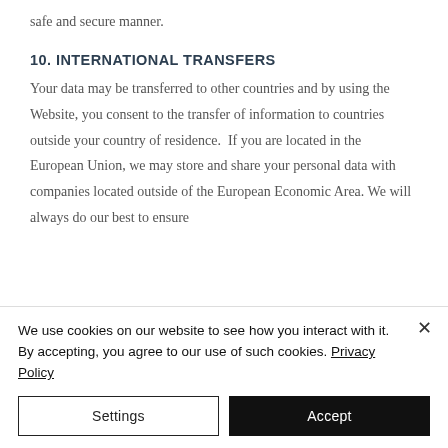safe and secure manner.
10. INTERNATIONAL TRANSFERS
Your data may be transferred to other countries and by using the Website, you consent to the transfer of information to countries outside your country of residence.  If you are located in the European Union, we may store and share your personal data with companies located outside of the European Economic Area. We will always do our best to ensure
We use cookies on our website to see how you interact with it. By accepting, you agree to our use of such cookies. Privacy Policy
Settings
Accept